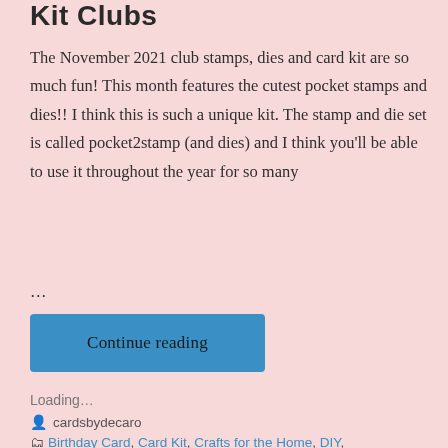Kit Clubs
The November 2021 club stamps, dies and card kit are so much fun! This month features the cutest pocket stamps and dies!! I think this is such a unique kit. The stamp and die set is called pocket2stamp (and dies) and I think you'll be able to use it throughout the year for so many
...
Continue reading
Loading...
cardsbydecaro
Birthday Card, Card Kit, Crafts for the Home, DIY,